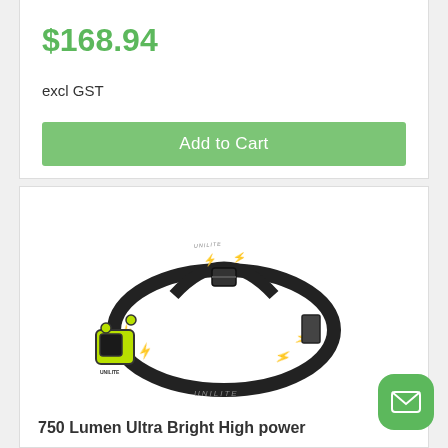$168.94
excl GST
Add to Cart
[Figure (photo): Black and yellow Unilite headlamp/headtorch shown from front angle with elastic head strap, yellow-green accents and lightning bolt pattern]
750 Lumen Ultra Bright High power